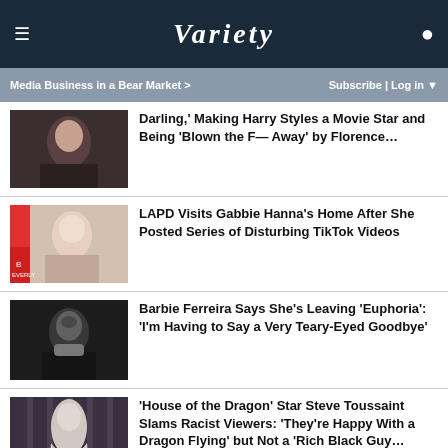VARIETY — Media Business in a Bear Market > | Subscribe | Log in
Darling,' Making Harry Styles a Movie Star and Being 'Blown the F— Away' by Florence…
LAPD Visits Gabbie Hanna's Home After She Posted Series of Disturbing TikTok Videos
Barbie Ferreira Says She's Leaving 'Euphoria': 'I'm Having to Say a Very Teary-Eyed Goodbye'
'House of the Dragon' Star Steve Toussaint Slams Racist Viewers: 'They're Happy With a Dragon Flying' but Not a 'Rich Black Guy…